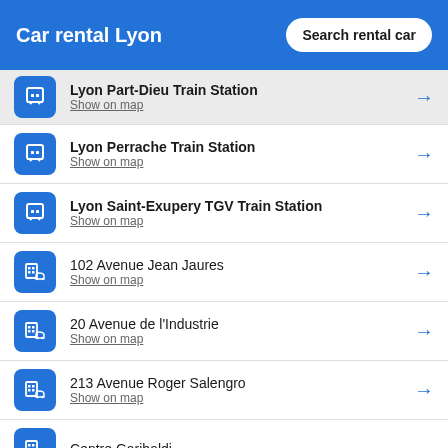Car rental Lyon | Search rental car
Lyon Part Dieu Train Station — Show on map
Lyon Perrache Train Station — Show on map
Lyon Saint-Exupery TGV Train Station — Show on map
102 Avenue Jean Jaures — Show on map
20 Avenue de l'Industrie — Show on map
213 Avenue Roger Salengro — Show on map
Centre Garibaldi